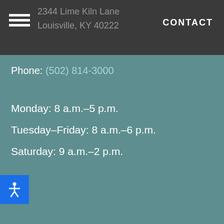2344 Lime Kiln Lane Louisville, KY 40222 CONTACT
Phone: (502) 814-3000
Monday: 8 a.m.–5 p.m.
Tuesday–Friday: 8 a.m.–6 p.m.
Saturday: 9 a.m.–2 p.m.
[Figure (other): Accessibility icon button (person with arms outstretched) on blue background]